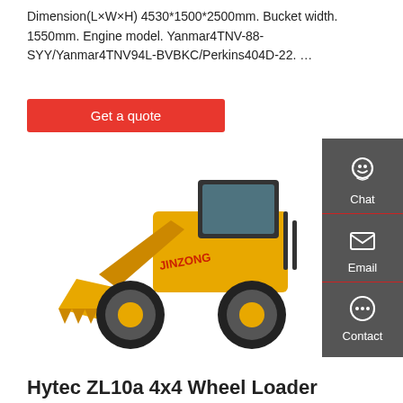Dimension(L×W×H) 4530*1500*2500mm. Bucket width. 1550mm. Engine model. Yanmar4TNV-88-SYY/Yanmar4TNV94L-BVBKC/Perkins404D-22. …
[Figure (other): Red button labeled 'Get a quote']
[Figure (other): Dark gray sidebar with Chat, Email, and Contact icons]
[Figure (photo): Yellow JINZONG wheel loader (ZL10a 4x4) on white background, front bucket visible, brand logo on side]
Hytec ZL10a 4x4 Wheel Loader